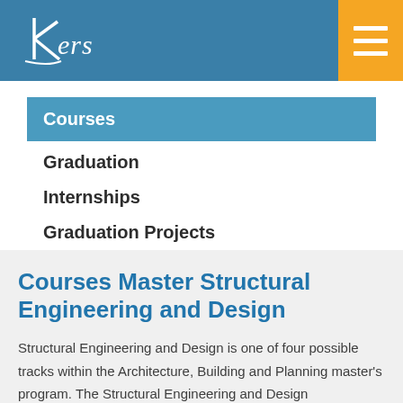kers
Courses
Graduation
Internships
Graduation Projects
Courses Master Structural Engineering and Design
Structural Engineering and Design is one of four possible tracks within the Architecture, Building and Planning master's program. The Structural Engineering and Design